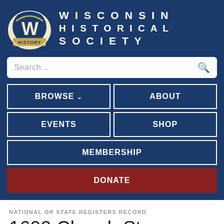[Figure (logo): Wisconsin Historical Society logo with stylized W and scroll, labeled HISTORY]
WISCONSIN HISTORICAL SOCIETY
Search...
BROWSE
ABOUT
EVENTS
SHOP
MEMBERSHIP
DONATE
NATIONAL OR STATE REGISTERS RECORD
1609 Church St.